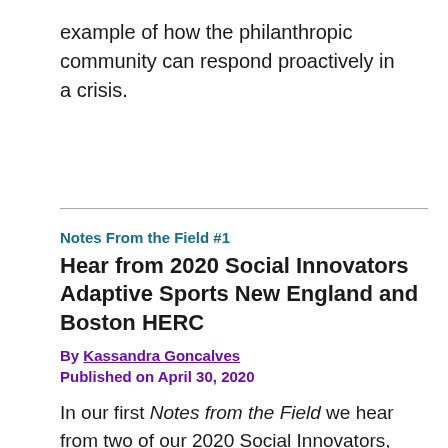example of how the philanthropic community can respond proactively in a crisis.
Notes From the Field #1
Hear from 2020 Social Innovators Adaptive Sports New England and Boston HERC
By Kassandra Goncalves
Published on April 30, 2020
In our first Notes from the Field we hear from two of our 2020 Social Innovators, Adaptive Sports New England and Boston HERC (Higher Education